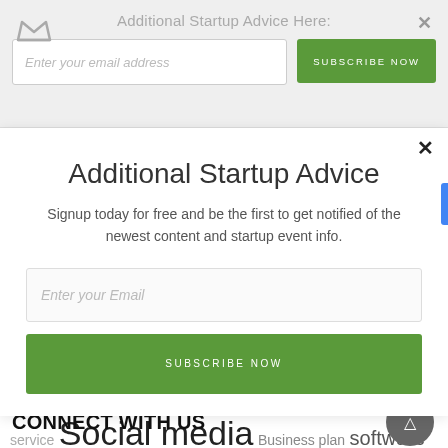Additional Startup Advice Here:
[Figure (screenshot): Email subscription bar at top with crown icon, email input field, Subscribe Now green button, and close X button]
Additional Startup Advice
Signup today for free and be the first to get notified of the newest content and startup event info.
Enter your Email
SUBSCRIBE NOW
startup performance investment customers training Customer service Social media Business plan software Entrepreneur strategy leadership content operations expenses success
CONNECT WITH US